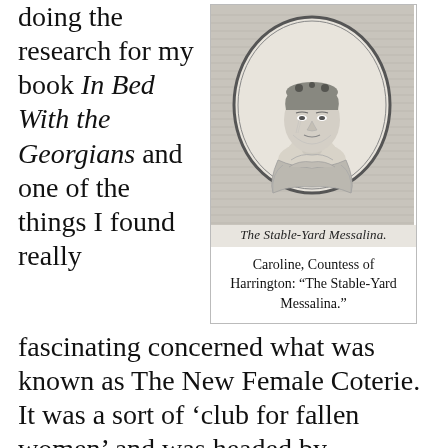doing the research for my book In Bed With the Georgians and one of the things I found really
[Figure (illustration): Engraved portrait of Caroline, Countess of Harrington, shown in an oval frame, with script caption below reading 'The Stable-Yard Messalina.']
Caroline, Countess of Harrington: “The Stable-Yard Messalina.”
fascinating concerned what was known as The New Female Coterie. It was a sort of ‘club for fallen women’ and was headed by Caroline, Countess